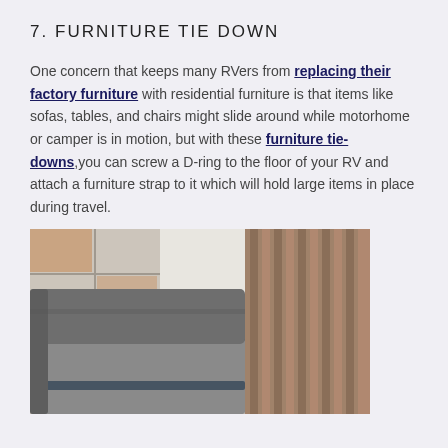7. FURNITURE TIE DOWN
One concern that keeps many RVers from replacing their factory furniture with residential furniture is that items like sofas, tables, and chairs might slide around while motorhome or camper is in motion, but with these furniture tie-downs,you can screw a D-ring to the floor of your RV and attach a furniture strap to it which will hold large items in place during travel.
[Figure (photo): Photo of gray upholstered RV sofa/chairs with dark straps visible across the cushions, showing wooden paneling in the background and tiled floor.]